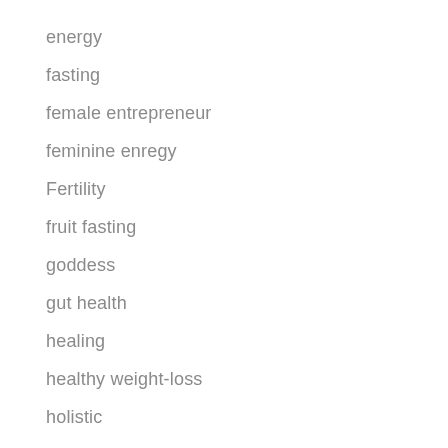energy
fasting
female entrepreneur
feminine enregy
Fertility
fruit fasting
goddess
gut health
healing
healthy weight-loss
holistic
Hormone Balancing Recipes
Hormone health